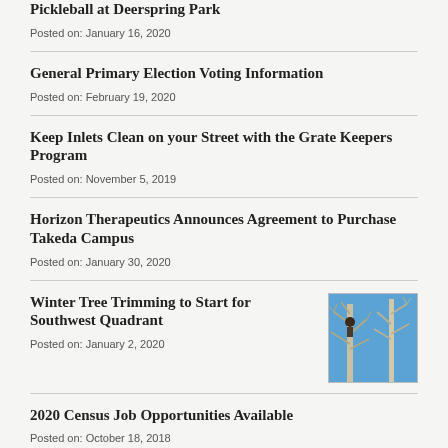Pickleball at Deerspring Park
Posted on: January 16, 2020
General Primary Election Voting Information
Posted on: February 19, 2020
Keep Inlets Clean on your Street with the Grate Keepers Program
Posted on: November 5, 2019
Horizon Therapeutics Announces Agreement to Purchase Takeda Campus
Posted on: January 30, 2020
Winter Tree Trimming to Start for Southwest Quadrant
Posted on: January 2, 2020
[Figure (photo): Photo of tree trimming work against a blue sky]
2020 Census Job Opportunities Available
Posted on: October 18, 2018